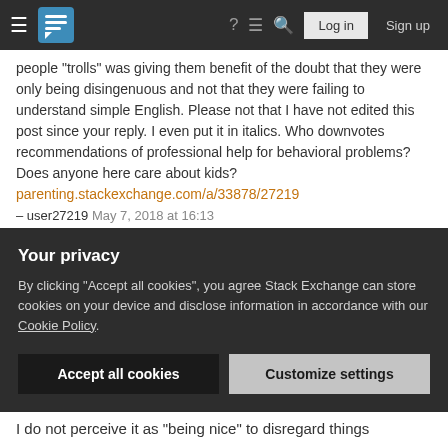Stack Exchange navigation bar with Log in and Sign up buttons
people "trolls" was giving them benefit of the doubt that they were only being disingenuous and not that they were failing to understand simple English. Please not that I have not edited this post since your reply. I even put it in italics. Who downvotes recommendations of professional help for behavioral problems? Does anyone here care about kids?
parenting.stackexchange.com/a/33878/27219
– user27219 May 7, 2018 at 16:13
2  @lyrin - okay: Someshiny was very polite and articulate. You are being rude - we have a Be Nice rule and you are not adhering to it. If you continue like this I will assume it isn't accidental. – Rory Alsop ♦ Mod May
Your privacy
By clicking "Accept all cookies", you agree Stack Exchange can store cookies on your device and disclose information in accordance with our Cookie Policy.
Accept all cookies  Customize settings
I do not perceive it as "being nice" to disregard things